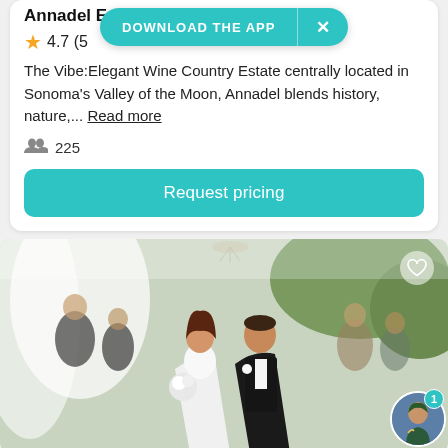Annadel Estate Winery
DOWNLOAD THE APP  ×
4.7 (5
The Vibe:Elegant Wine Country Estate centrally located in Sonoma's Valley of the Moon, Annadel blends history, nature,... Read more
225
Request pricing
[Figure (photo): Wedding couple walking together at an outdoor ceremony. Bride in white strapless gown holding bouquet, groom in black tuxedo with bow tie and boutonniere. Guests and floral draping visible in background. Small notification avatar visible in lower right corner.]